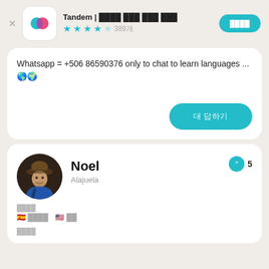[Figure (screenshot): Tandem app header with icon, title, star rating (389 reviews), and install button]
Whatsapp = +506 86590376 only to chat to learn languages ...🌎🌍
대 답하기 (reply button)
[Figure (photo): Circular profile photo of Noel, a person wearing a hat outdoors]
Noel
Alajuela
배우는 언어
🇪🇸 스페인어  🇺🇸 영어
모국어